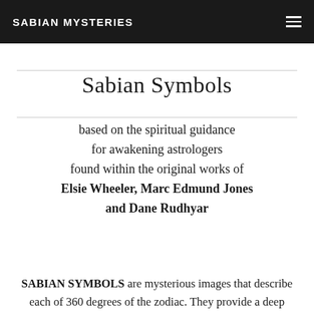SABIAN MYSTERIES
Sabian Symbols
based on the spiritual guidance for awakening astrologers found within the original works of Elsie Wheeler, Marc Edmund Jones and Dane Rudhyar
SABIAN SYMBOLS are mysterious images that describe each of 360 degrees of the zodiac. They provide a deep